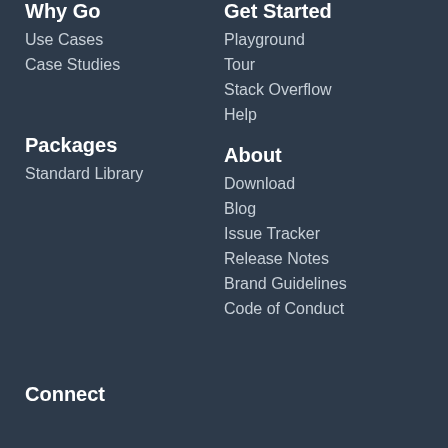Why Go
Use Cases
Case Studies
Get Started
Playground
Tour
Stack Overflow
Help
Packages
Standard Library
About
Download
Blog
Issue Tracker
Release Notes
Brand Guidelines
Code of Conduct
Connect